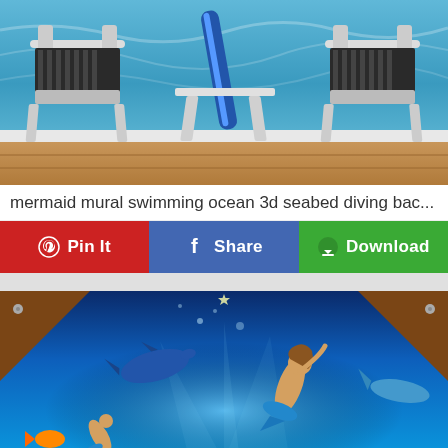[Figure (photo): Interior room scene with two black-and-white striped chairs and a mermaid/ocean 3D mural wallpaper background showing water and a surfboard.]
mermaid mural swimming ocean 3d seabed diving bac...
[Figure (infographic): Social sharing button row with Pinterest Pin It (red), Facebook Share (blue), and Download (green) buttons.]
[Figure (photo): Underwater ceiling mural showing a mermaid, dolphins, and fish with wood-beam framing visible in corners, deep blue ocean background.]